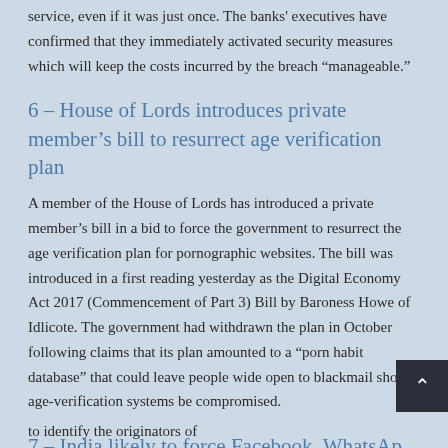service, even if it was just once. The banks' executives have confirmed that they immediately activated security measures which will keep the costs incurred by the breach “manageable.”
6 – House of Lords introduces private member’s bill to resurrect age verification plan
A member of the House of Lords has introduced a private member’s bill in a bid to force the government to resurrect the age verification plan for pornographic websites. The bill was introduced in a first reading yesterday as the Digital Economy Act 2017 (Commencement of Part 3) Bill by Baroness Howe of Idlicote. The government had withdrawn the plan in October following claims that its plan amounted to a “porn habit database” that could leave people wide open to blackmail should age-verification systems be compromised.
7 – India likely to force Facebook, WhatsApp to identify the originators of...